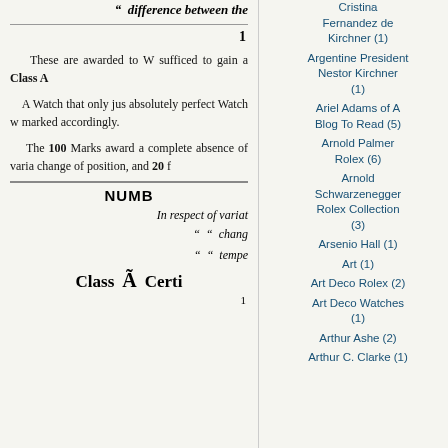" difference between the
1
These are awarded to W sufficed to gain a Class A
A Watch that only jus absolutely perfect Watch w marked accordingly.
The 100 Marks award a complete absence of varia change of position, and 20 f
NUMB
In respect of variat
" " chang
" " tempe
Class A Certi
1
Argentine President Cristina Fernandez de Kirchner (1)
Argentine President Nestor Kirchner (1)
Ariel Adams of A Blog To Read (5)
Arnold Palmer Rolex (6)
Arnold Schwarzenegger Rolex Collection (3)
Arsenio Hall (1)
Art (1)
Art Deco Rolex (2)
Art Deco Watches (1)
Arthur Ashe (2)
Arthur C. Clarke (1)